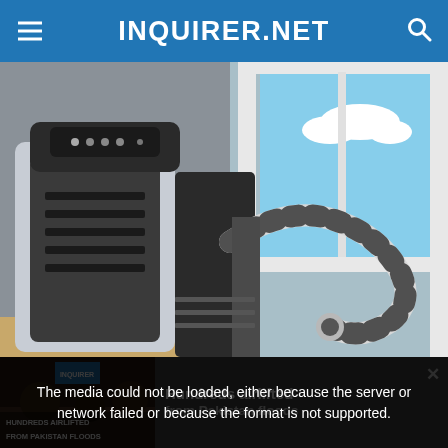INQUIRER.NET
[Figure (photo): A portable air conditioner unit with its exhaust hose connected through a window. The AC unit is silver and dark grey, positioned near a white-framed window showing a blue sky outside.]
The media could not be loaded, either because the server or network failed or because the format is not supported.
Hundreds airlifted from Pakistan floods
[Figure (screenshot): Video thumbnail showing flood victims with text overlay reading HUNDREDS AIRLIFTED FROM PAKISTAN FLOODS]